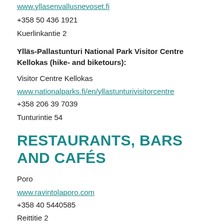www.yllasenvallusnevoset.fi
+358 50 436 1921
Kuerlinkantie 2
Ylläs-Pallastunturi National Park Visitor Centre Kellokas (hike- and biketours):
Visitor Centre Kellokas
www.nationalparks.fi/en/yllastunturivisitorcentre
+358 206 39 7039
Tunturintie 54
RESTAURANTS, BARS AND CAFÉS
Poro
www.ravintolaporo.com
+358 40 5440585
Reittitie 2